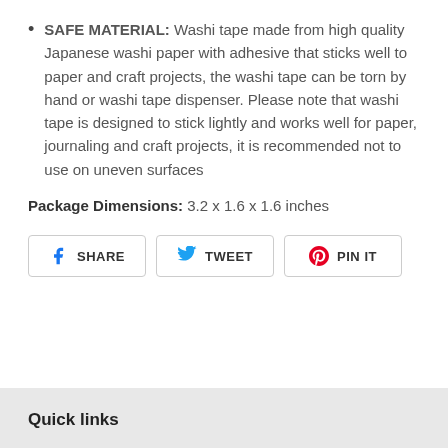SAFE MATERIAL: Washi tape made from high quality Japanese washi paper with adhesive that sticks well to paper and craft projects, the washi tape can be torn by hand or washi tape dispenser. Please note that washi tape is designed to stick lightly and works well for paper, journaling and craft projects, it is recommended not to use on uneven surfaces
Package Dimensions: 3.2 x 1.6 x 1.6 inches
SHARE  TWEET  PIN IT
Quick links